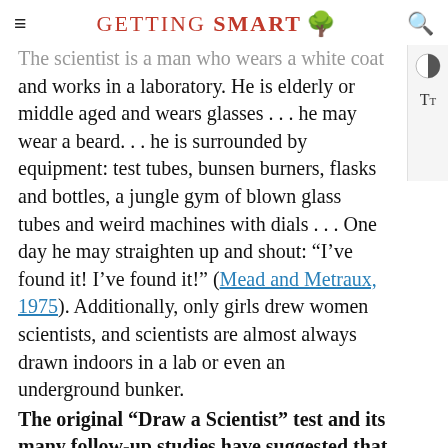GETTING SMART
The scientist is a man who wears a white coat and works in a laboratory. He is elderly or middle aged and wears glasses . . . he may wear a beard. . . he is surrounded by equipment: test tubes, bunsen burners, flasks and bottles, a jungle gym of blown glass tubes and weird machines with dials . . . One day he may straighten up and shout: “I’ve found it! I’ve found it!” (Mead and Metraux, 1975). Additionally, only girls drew women scientists, and scientists are almost always drawn indoors in a lab or even an underground bunker.
The original “Draw a Scientist” test and its many follow-up studies have suggested that scientists suffer from a public image problem